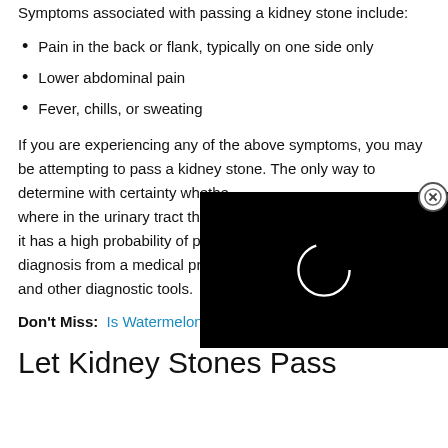Symptoms associated with passing a kidney stone include:
Pain in the back or flank, typically on one side only
Lower abdominal pain
Fever, chills, or sweating
If you are experiencing any of the above symptoms, you may be attempting to pass a kidney stone. The only way to determine with certainty whether where in the urinary tract the stone it has a high probability of passing diagnosis from a medical professional and other diagnostic tools.
[Figure (screenshot): Black video player overlay with a white circular spinner/loading icon in the center, and a close (X) button in the upper right corner]
Don't Miss: Is Watermelon Bad For Kidneys
Let Kidney Stones Pass